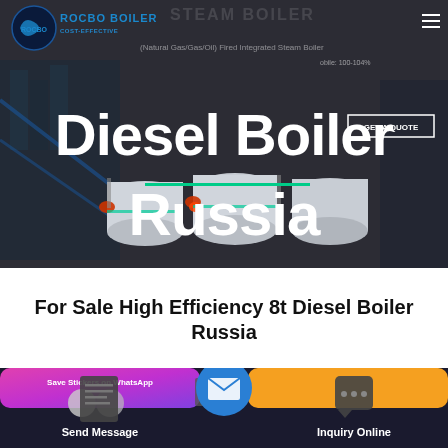[Figure (photo): Hero banner showing industrial diesel steam boilers (white cylindrical units) in a dark factory/industrial setting. Rocbo Boiler branding in top left with blue logo and text. 'GET A QUOTE' button top right. 'Diesel Boiler Russia' text overlaid in large white bold font centered.]
For Sale High Efficiency 8t Diesel Boiler Russia
[Figure (screenshot): Bottom navigation bar with dark background. Left section shows 'Save Stickers on WhatsApp' card with pink/purple gradient. Left action button: Send Message with document icon. Center: blue circle with envelope icon. Right action button: Inquiry Online with chat icon. Right section shows an orange card partially visible.]